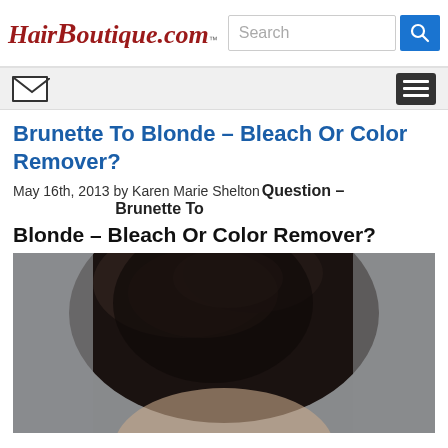HairBoutique.com™ Search
Brunette To Blonde – Bleach Or Color Remover?
May 16th, 2013 by Karen Marie Shelton
Question – Brunette To Blonde – Bleach Or Color Remover?
[Figure (photo): Close-up photo of a woman with dark brunette hair, shown from forehead/top of head, against a gray background]